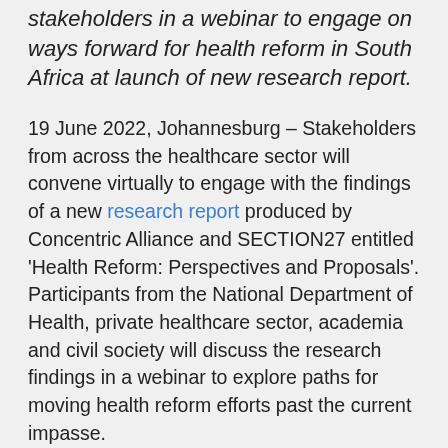stakeholders in a webinar to engage on ways forward for health reform in South Africa at launch of new research report.
19 June 2022, Johannesburg – Stakeholders from across the healthcare sector will convene virtually to engage with the findings of a new research report produced by Concentric Alliance and SECTION27 entitled 'Health Reform: Perspectives and Proposals'. Participants from the National Department of Health, private healthcare sector, academia and civil society will discuss the research findings in a webinar to explore paths for moving health reform efforts past the current impasse.
The launch of this seminal research will now take place virtually on Monday, 20 June 2022 from 10:00-11:30. The webinar will include a